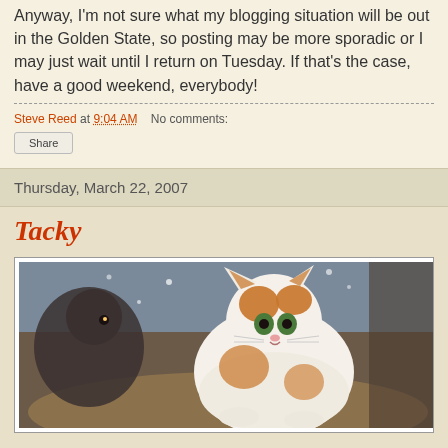Anyway, I'm not sure what my blogging situation will be out in the Golden State, so posting may be more sporadic or I may just wait until I return on Tuesday. If that's the case, have a good weekend, everybody!
Steve Reed at 9:04 AM   No comments:
Share
Thursday, March 22, 2007
Tacky
[Figure (photo): A white and orange fluffy kitten sitting in what appears to be a wicker basket, looking at the camera. Other cats or kittens are partially visible in the background.]